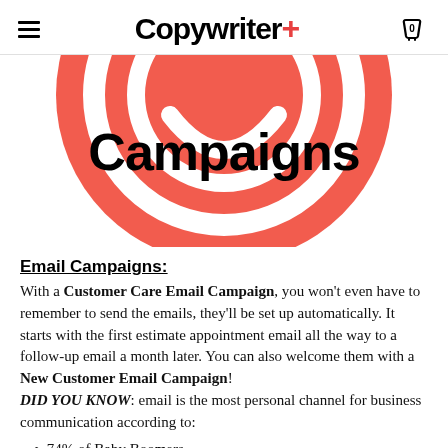Copywriter+
[Figure (illustration): Large coral/salmon colored circular emoji-like graphic with concentric ring pattern and smile, overlaid with bold black text 'Campaigns']
Email Campaigns:
With a Customer Care Email Campaign, you won't even have to remember to send the emails, they'll be set up automatically. It starts with the first estimate appointment email all the way to a follow-up email a month later. You can also welcome them with a New Customer Email Campaign! DID YOU KNOW: email is the most personal channel for business communication according to:
74% of Baby Boomers